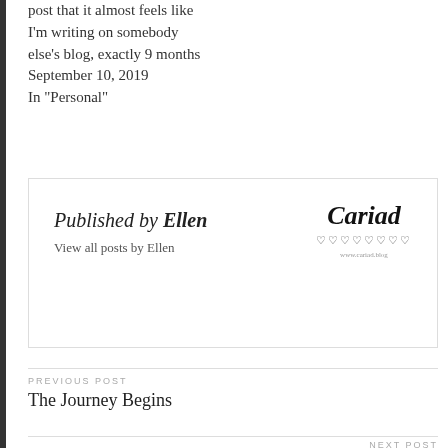post that it almost feels like I'm writing on somebody else's blog, exactly 9 months
September 10, 2019
In "Personal"
Published by Ellen
View all posts by Ellen
[Figure (logo): Cariad logo with italic bold text, heart symbols, and small subtitle text below]
PREVIOUS POST
The Journey Begins
NEXT POST